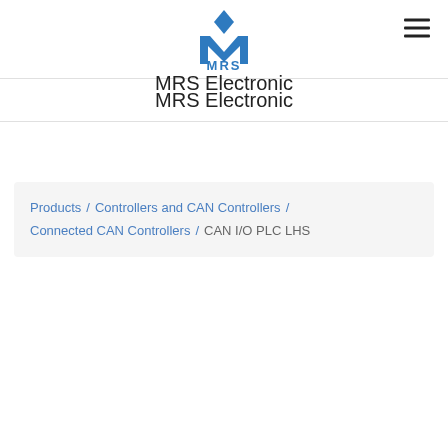[Figure (logo): MRS Electronic company logo — blue stylized M with a diamond shape above, 'MRS' text below in blue]
MRS Electronic
Products / Controllers and CAN Controllers / Connected CAN Controllers / CAN I/O PLC LHS